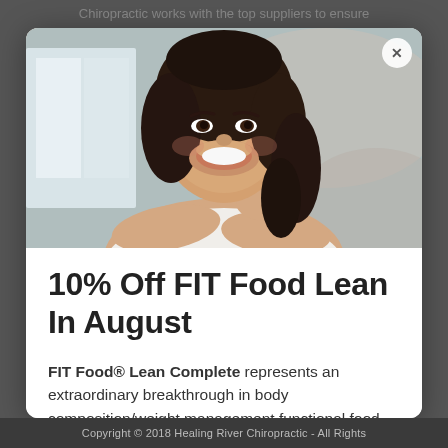Chiropractic works with the top suppliers to ensure
[Figure (photo): Smiling woman with dark hair wearing a white top, resting her chin on her hand in a relaxed pose]
10% Off FIT Food Lean In August
FIT Food® Lean Complete represents an extraordinary breakthrough in body composition/weight management functional food formulas. This source of quality protein
Copyright © 2018 Healing River Chiropractic - All Rights